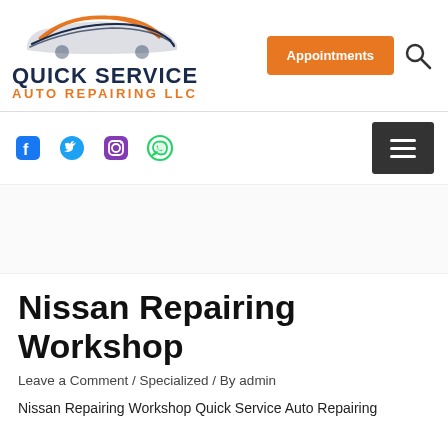[Figure (logo): Quick Service Auto Repairing LLC logo with orange car silhouette, dark blue QUICK SERVICE text and orange AUTO REPAIRING LLC text]
[Figure (illustration): Orange Appointments button and search magnifier icon in header]
[Figure (illustration): Social media icons: Facebook (blue), Twitter (light blue), Instagram (purple), WhatsApp (green)]
[Figure (illustration): Dark hamburger menu button (three white lines on dark background)]
Nissan Repairing Workshop
Leave a Comment / Specialized / By admin
Nissan Repairing Workshop Quick Service Auto Repairing